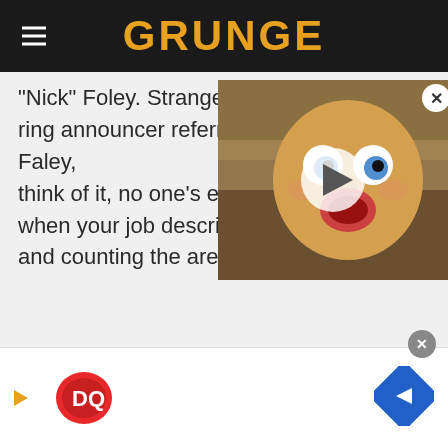GRUNGE
"Nick" Foley. Stranger yet was how the ring announcer referred to him as "Nick Faley, think of it, no one's expected t when your job description invo and counting the arena lights.
[Figure (screenshot): Video thumbnail showing a doll/mascot face with wide open eyes and mouth, with a basketball arena crowd in the background. A white play button is overlaid in the center.]
[Figure (logo): Dairy Queen (DQ) advertisement banner with DQ logo on left and a blue navigation/direction diamond icon on the right.]